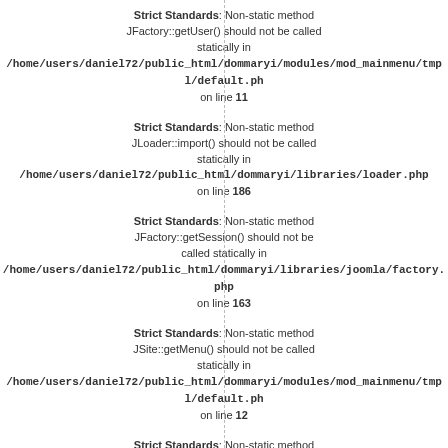Strict Standards: Non-static method JFactory::getUser() should not be called statically in /home/users/daniel72/public_html/dommaryi/modules/mod_mainmenu/tmpl/default.ph on line 11
Strict Standards: Non-static method JLoader::import() should not be called statically in /home/users/daniel72/public_html/dommaryi/libraries/loader.php on line 186
Strict Standards: Non-static method JFactory::getSession() should not be called statically in /home/users/daniel72/public_html/dommaryi/libraries/joomla/factory.php on line 163
Strict Standards: Non-static method JSite::getMenu() should not be called statically in /home/users/daniel72/public_html/dommaryi/modules/mod_mainmenu/tmpl/default.ph on line 12
Strict Standards: Non-static method JApplication::getMenu() should not be called statically in /home/users/daniel72/public_html/dommaryi/includes/application.php on line 345
Strict Standards: Non-static method...